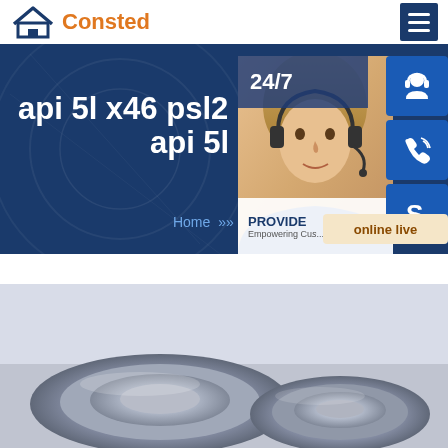[Figure (logo): Consted company logo with house icon in navy blue and orange text]
[Figure (screenshot): Hero banner with dark blue background showing text 'api 5l x46 psl2 pipe s' and 'api 5l psl2 pipe a' with breadcrumb navigation showing Home >> A572 steel, overlaid with customer service widget showing 24/7 label, woman with headset photo, service icons (headset, phone, Skype), PROVIDE / Empowering Customers text, and online live button]
[Figure (photo): Bottom photo showing metallic pipe coils or rolled steel products in gray/silver tones]